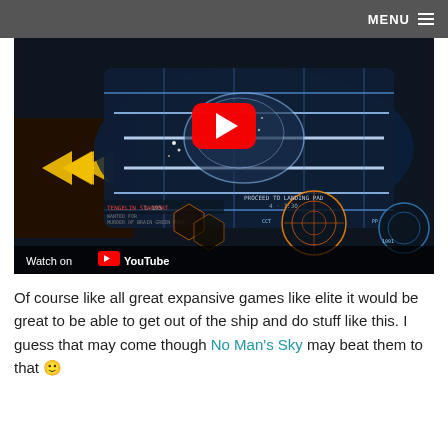MENU
[Figure (screenshot): YouTube video thumbnail showing a sci-fi spaceship cockpit from the game Elite Dangerous, with a red YouTube play button overlay and 'Watch on YouTube' bar at the bottom.]
Of course like all great expansive games like elite it would be great to be able to get out of the ship and do stuff like this. I guess that may come though No Man's Sky may beat them to that 🙂